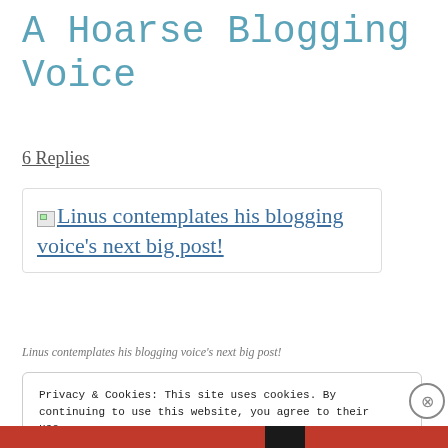A Hoarse Blogging Voice
6 Replies
[Figure (illustration): Image placeholder with link: Linus contemplates his blogging voice's next big post!]
Linus contemplates his blogging voice's next big post!
Privacy & Cookies: This site uses cookies. By continuing to use this website, you agree to their use.
To find out more, including how to control cookies, see here: Cookie Policy
Close and accept